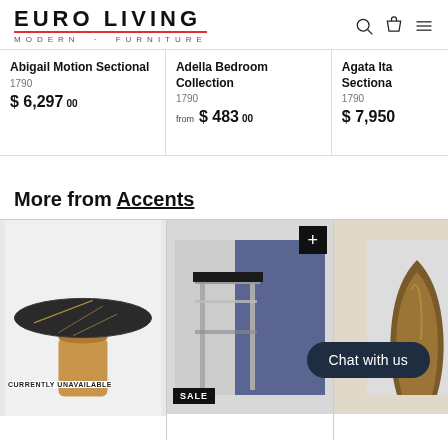EURO LIVING MODERN · FURNITURE
Abigail Motion Sectional
1790
$ 6,297 00
Adella Bedroom Collection
1790
from $ 483 00
Agata Italian Sectional
1790
$ 7,950
More from Accents
[Figure (photo): Round marble-top table with gold/rose-gold cylindrical base, CURRENTLY UNAVAILABLE badge]
[Figure (photo): Chrome accent table with dark marble top and blue cushion in background, SALE badge]
[Figure (photo): Partial view of a bronze/gold decorative object]
Chat with us